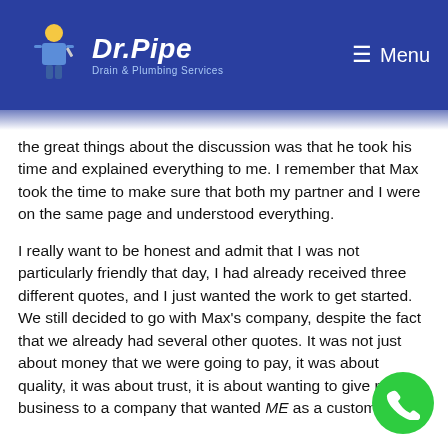Dr. Pipe Drain & Plumbing Services — Menu
Max came to us and talked about the quote. One of the great things about the discussion was that he took his time and explained everything to me. I remember that Max took the time to make sure that both my partner and I were on the same page and understood everything.
I really want to be honest and admit that I was not particularly friendly that day, I had already received three different quotes, and I just wanted the work to get started. We still decided to go with Max's company, despite the fact that we already had several other quotes. It was not just about money that we were going to pay, it was about quality, it was about trust, it is about wanting to give my business to a company that wanted ME as a customer.